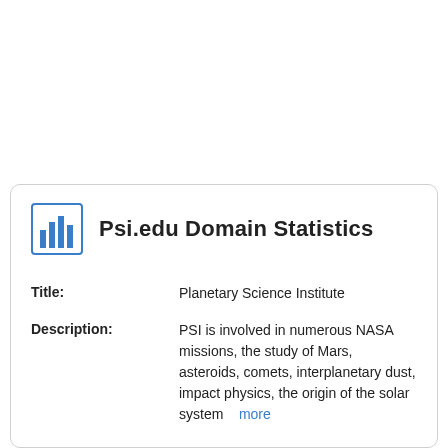Psi.edu Domain Statistics
Title: Planetary Science Institute
Description: PSI is involved in numerous NASA missions, the study of Mars, asteroids, comets, interplanetary dust, impact physics, the origin of the solar system... more